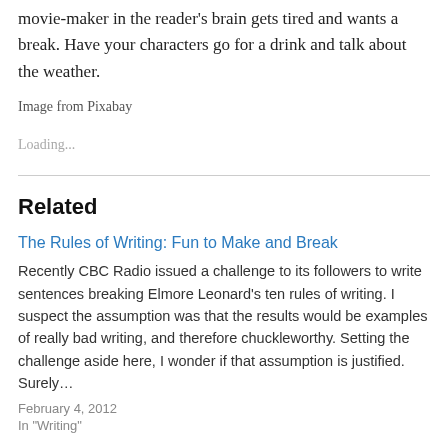movie-maker in the reader's brain gets tired and wants a break. Have your characters go for a drink and talk about the weather.
Image from Pixabay
Loading...
Related
The Rules of Writing: Fun to Make and Break
Recently CBC Radio issued a challenge to its followers to write sentences breaking Elmore Leonard's ten rules of writing. I suspect the assumption was that the results would be examples of really bad writing, and therefore chuckleworthy. Setting the challenge aside here, I wonder if that assumption is justified. Surely…
February 4, 2012
In "Writing"